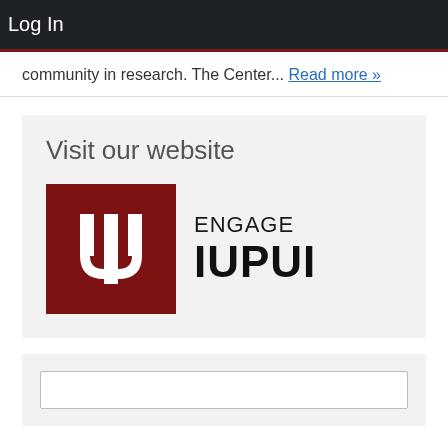Log In
community in research. The Center... Read more »
[Figure (logo): IUPUI Engage logo: red square with white IU trident symbol, followed by text ENGAGE IUPUI]
Visit our website